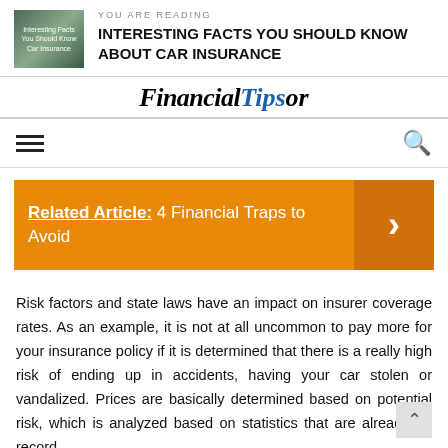YOU ARE READING
INTERESTING FACTS YOU SHOULD KNOW ABOUT CAR INSURANCE
FinancialTipsor
Related Article: 4 Financial Traps to Avoid
Risk factors and state laws have an impact on insurer coverage rates. As an example, it is not at all uncommon to pay more for your insurance policy if it is determined that there is a really high risk of ending up in accidents, having your car stolen or vandalized. Prices are basically determined based on potential risk, which is analyzed based on statistics that are already on record.